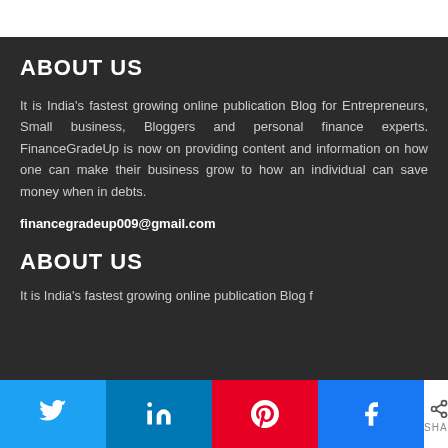ABOUT US
It is India’s fastest growing online publication Blog for Entrepreneurs, Small business, Bloggers and personal finance experts. FinanceGradeUp is now on providing content and information on how one can make their business grow to how an individual can save money when in debts.
financegradeup009@gmail.com
ABOUT US
It is India’s fastest growing online publication Blog for
0 SHARES